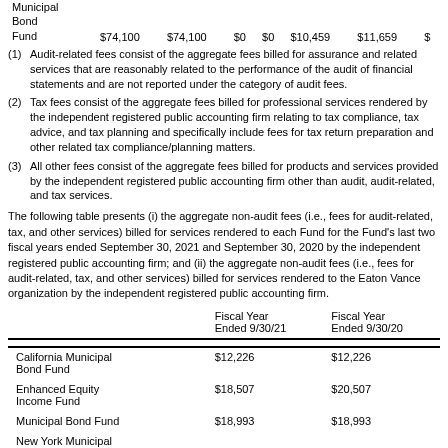|  | Fiscal Year Ended 9/30/21 | Fiscal Year Ended 9/30/20 |
| --- | --- | --- |
| Municipal Bond Fund | $74,100 | $74,100 | $0 | $0 | $10,459 | $11,659 | $ |
(1) Audit-related fees consist of the aggregate fees billed for assurance and related services that are reasonably related to the performance of the audit of financial statements and are not reported under the category of audit fees.
(2) Tax fees consist of the aggregate fees billed for professional services rendered by the independent registered public accounting firm relating to tax compliance, tax advice, and tax planning and specifically include fees for tax return preparation and other related tax compliance/planning matters.
(3) All other fees consist of the aggregate fees billed for products and services provided by the independent registered public accounting firm other than audit, audit-related, and tax services.
The following table presents (i) the aggregate non-audit fees (i.e., fees for audit-related, tax, and other services) billed for services rendered to each Fund for the Fund’s last two fiscal years ended September 30, 2021 and September 30, 2020 by the independent registered public accounting firm; and (ii) the aggregate non-audit fees (i.e., fees for audit-related, tax, and other services) billed for services rendered to the Eaton Vance organization by the independent registered public accounting firm.
|  | Fiscal Year Ended 9/30/21 | Fiscal Year Ended 9/30/20 |
| --- | --- | --- |
| California Municipal Bond Fund | $12,226 | $12,226 |
| Enhanced Equity Income Fund | $18,507 | $20,507 |
| Municipal Bond Fund | $18,993 | $18,993 |
| New York Municipal ... |  |  |